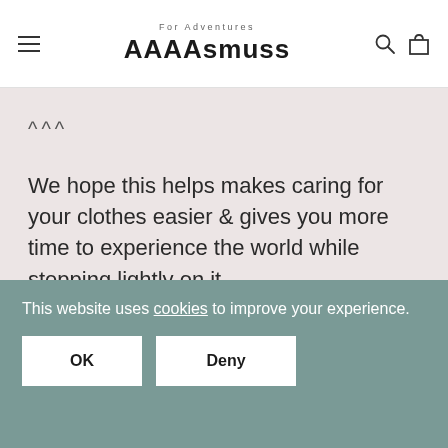AAAAsmuss For Adventures
^^^
We hope this helps makes caring for your clothes easier & gives you more time to experience the world while stepping lightly on it.
Written by Fiona Warburton
This website uses cookies to improve your experience.